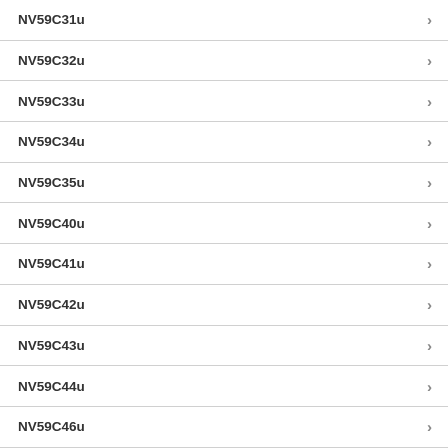NV59C31u
NV59C32u
NV59C33u
NV59C34u
NV59C35u
NV59C40u
NV59C41u
NV59C42u
NV59C43u
NV59C44u
NV59C46u